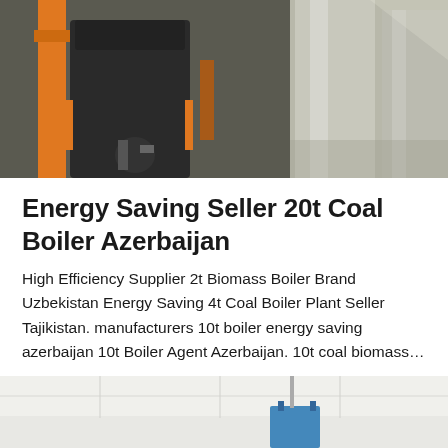[Figure (photo): Industrial boiler equipment photo showing orange/metal boilers and stainless steel cylindrical tanks in a facility]
Energy Saving Seller 20t Coal Boiler Azerbaijan
High Efficiency Supplier 2t Biomass Boiler Brand Uzbekistan Energy Saving 4t Coal Boiler Plant Seller Tajikistan. manufacturers 10t boiler energy saving azerbaijan 10t Boiler Agent Azerbaijan. 10t coal biomass…
Get Price
[Figure (photo): Interior of a building or facility, partial view showing ceiling and suspended equipment]